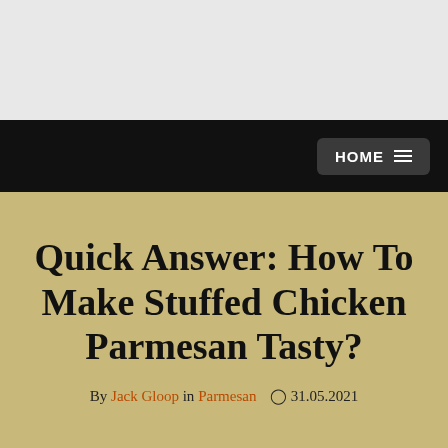HOME
Quick Answer: How To Make Stuffed Chicken Parmesan Tasty?
By Jack Gloop in Parmesan  31.05.2021
We store cookies: if you do not agree, you can close the site Agreemen